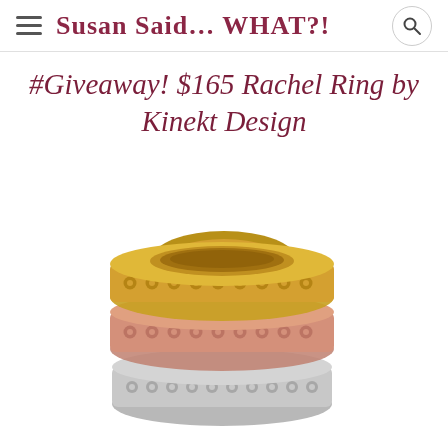Susan Said… WHAT?!
#Giveaway! $165 Rachel Ring by Kinekt Design
[Figure (photo): Stack of three flower-patterned band rings in gold, rose gold, and silver/steel finishes by Kinekt Design]